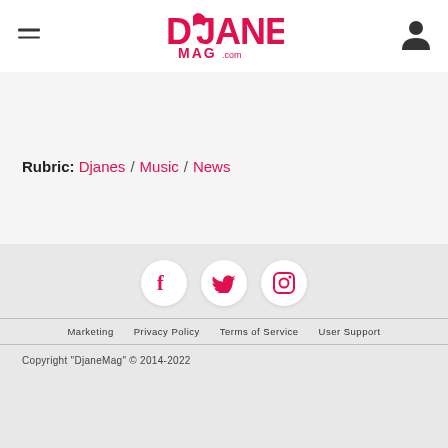DjaneMag.com
Rubric: Djanes / Music / News
Marketing  Privacy Policy  Terms of Service  User Support
Copyright "DjaneMag" © 2014-2022